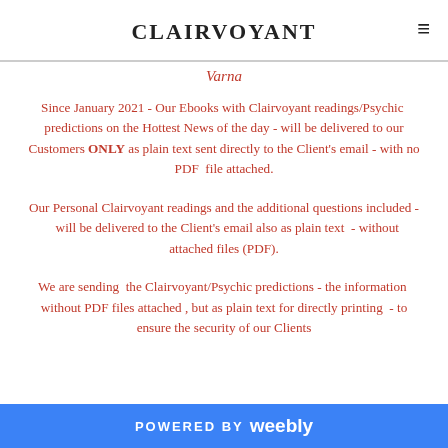CLAIRVOYANT HOUSE
Varna
Since January 2021 - Our Ebooks with Clairvoyant readings/Psychic predictions on the Hottest News of the day - will be delivered to our Customers ONLY as plain text sent directly to the Client's email - with no PDF file attached.
Our Personal Clairvoyant readings and the additional questions included - will be delivered to the Client's email also as plain text - without attached files (PDF).
We are sending the Clairvoyant/Psychic predictions - the information without PDF files attached , but as plain text for directly printing - to ensure the security of our Clients
POWERED BY weebly